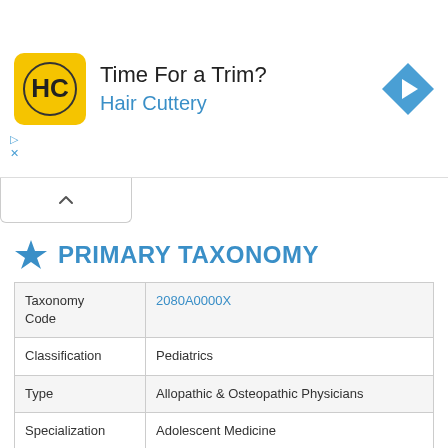[Figure (other): Hair Cuttery advertisement banner with logo, headline 'Time For a Trim?', and a directional arrow icon]
PRIMARY TAXONOMY
| Taxonomy Code | 2080A0000X |
| Classification | Pediatrics |
| Type | Allopathic & Osteopathic Physicians |
| Specialization | Adolescent Medicine |
| License No. | 25MA06127000 |
| License State | NJ |
| Taxonomy Description | A pediatrician who specializes in adolescent medicine is a multi-disciplinary healthcare specialist trained in the unique |